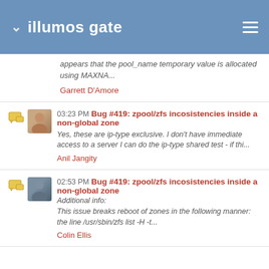illumos gate
appears that the pool_name temporary value is allocated using MAXNA...
Garrett D'Amore
03:23 PM Bug #419: zpool/zfs incosistencies inside a non-global zone
Yes, these are ip-type exclusive. I don't have immediate access to a server I can do the ip-type shared test - if thi...
Anil Jangity
02:53 PM Bug #419: zpool/zfs incosistencies inside a non-global zone
Additional info:
This issue breaks reboot of zones in the following manner:
the line /usr/sbin/zfs list -H -t...
Colin Ellis